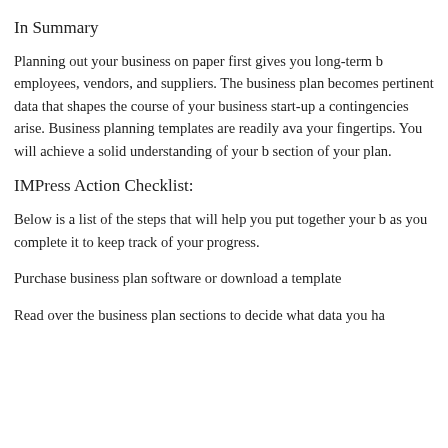In Summary
Planning out your business on paper first gives you long-term b... employees, vendors, and suppliers. The business plan becomes ... pertinent data that shapes the course of your business start-up a... contingencies arise. Business planning templates are readily ava... your fingertips. You will achieve a solid understanding of your b... section of your plan.
IMPress Action Checklist:
Below is a list of the steps that will help you put together your b... as you complete it to keep track of your progress.
Purchase business plan software or download a template
Read over the business plan sections to decide what data you ha...